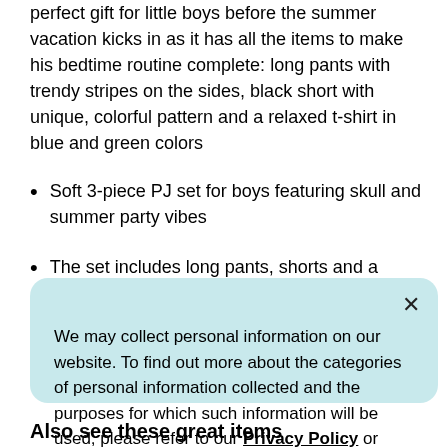perfect gift for little boys before the summer vacation kicks in as it has all the items to make his bedtime routine complete: long pants with trendy stripes on the sides, black short with unique, colorful pattern and a relaxed t-shirt in blue and green colors
Soft 3-piece PJ set for boys featuring skull and summer party vibes
The set includes long pants, shorts and a matching t-shirt with ombre multicolor design
We may collect personal information on our website. To find out more about the categories of personal information collected and the purposes for which such information will be used, please refer to our Privacy Policy or contact us directly.
Also see these great items